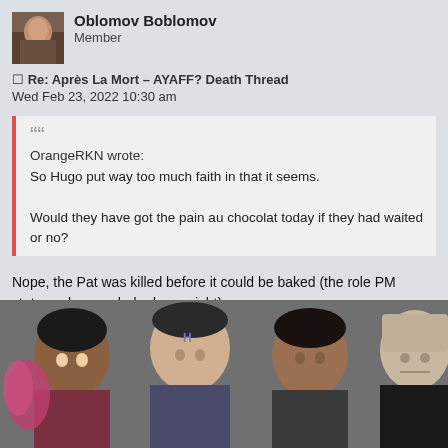[Figure (photo): Avatar thumbnail of Oblomov Boblomov - small portrait photo with warm tones]
Oblomov Boblomov
Member
Re: Après La Mort – AYAFF? Death Thread
Wed Feb 23, 2022 10:30 am
OrangeRKN wrote:
So Hugo put way too much faith in that it seems.

Would they have got the pain au chocolat today if they had waited or no?
Nope, the Pat was killed before it could be baked (the role PM states cakes are baked overnight).
[Figure (photo): Group photo of four people/characters from a TV show, including a person in costume with face paint, a man with an H on his forehead, and a bald alien-like figure on the right]